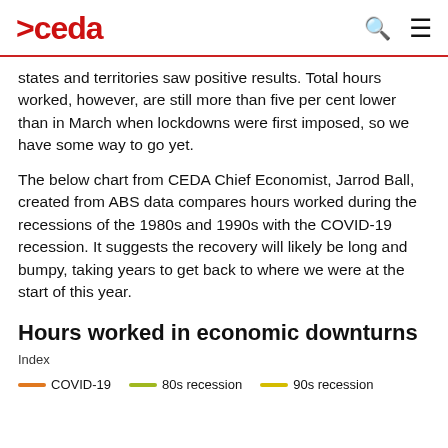>ceda
states and territories saw positive results. Total hours worked, however, are still more than five per cent lower than in March when lockdowns were first imposed, so we have some way to go yet.
The below chart from CEDA Chief Economist, Jarrod Ball, created from ABS data compares hours worked during the recessions of the 1980s and 1990s with the COVID-19 recession. It suggests the recovery will likely be long and bumpy, taking years to get back to where we were at the start of this year.
Hours worked in economic downturns
Index
COVID-19   80s recession   90s recession